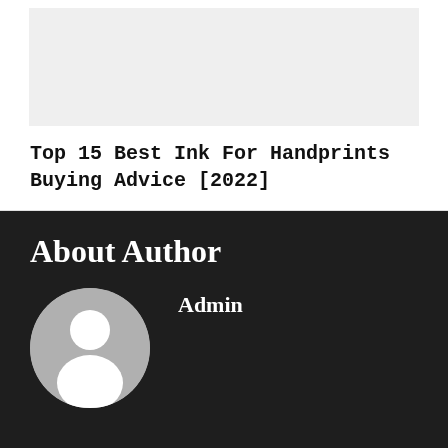[Figure (other): Light gray rectangular image placeholder area at the top of the card]
Top 15 Best Ink For Handprints Buying Advice [2022]
About Author
[Figure (photo): Generic user avatar circle with silhouette icon on dark gray background]
Admin